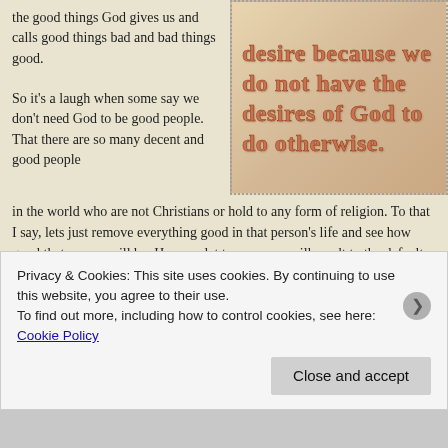the good things God gives us and calls good things bad and bad things good.
[Figure (illustration): Decorative quote box with text: 'desire because we do not have the desires of God to do otherwise.' styled with ornate brown/copper lettering on a warm tan/brown gradient background with dotted border.]
So it’s a laugh when some say we don’t need God to be good people. That there are so many decent and good people in the world who are not Christians or hold to any form of religion. To that I say, lets just remove everything good in that person’s life and see how good that person will be. Humans let to our own, will result to the default of our nature; wicked. This is what Jesus wanted to show the rich man, when he referred to Jesus as "Good Teacher". If any man is good definitely it’s should be Jesus, I mean He’s the only man who never committed a single sin, however, Jesus in his human nature know that He cannot be good apart from
Privacy & Cookies: This site uses cookies. By continuing to use this website, you agree to their use.
To find out more, including how to control cookies, see here: Cookie Policy
Close and accept